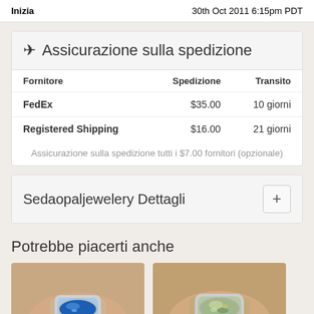Inizia    30th Oct 2011 6:15pm PDT
✈ Assicurazione sulla spedizione
| Fornitore | Spedizione | Transito |
| --- | --- | --- |
| FedEx | $35.00 | 10 giorni |
| Registered Shipping | $16.00 | 21 giorni |
Assicurazione sulla spedizione tutti i $7.00 fornitori (opzionale)
Sedaopaljewelery Dettagli
Potrebbe piacerti anche
[Figure (photo): Close-up photo of a blue opal ring on a finger, silver setting]
[Figure (photo): Close-up photo of an opal ring on a finger, silver bezel setting]